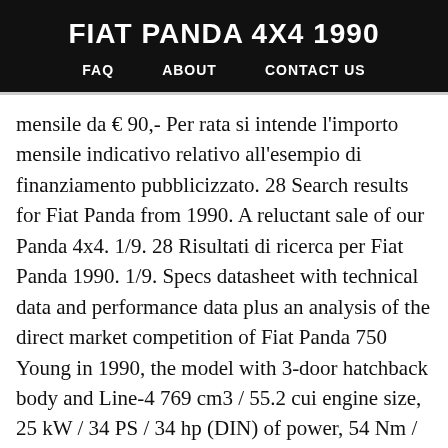FIAT PANDA 4X4 1990
FAQ   ABOUT   CONTACT US
mensile da € 90,- Per rata si intende l'importo mensile indicativo relativo all'esempio di finanziamento pubblicizzato. 28 Search results for Fiat Panda from 1990. A reluctant sale of our Panda 4x4. 1/9. 28 Risultati di ricerca per Fiat Panda 1990. 1/9. Specs datasheet with technical data and performance data plus an analysis of the direct market competition of Fiat Panda 750 Young in 1990, the model with 3-door hatchback body and Line-4 769 cm3 / 55.2 cui engine size, 25 kW / 34 PS / 34 hp (DIN) of power, 54 Nm / 40 lb-ft of torque, 4-speed